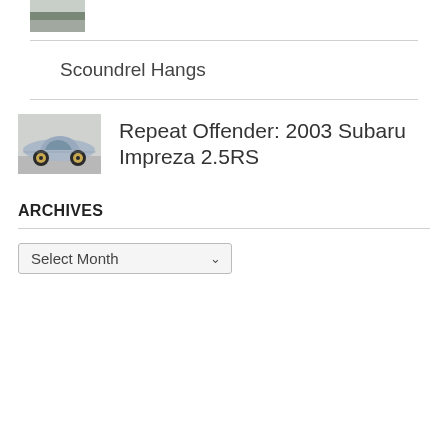[Figure (photo): Partial thumbnail image at the top, partially cropped car/vehicle photo]
Scoundrel Hangs
[Figure (photo): Thumbnail photo of a silver 2003 Subaru Impreza 2.5RS, lowered stance with gold wheels, side profile view]
Repeat Offender: 2003 Subaru Impreza 2.5RS
ARCHIVES
Select Month